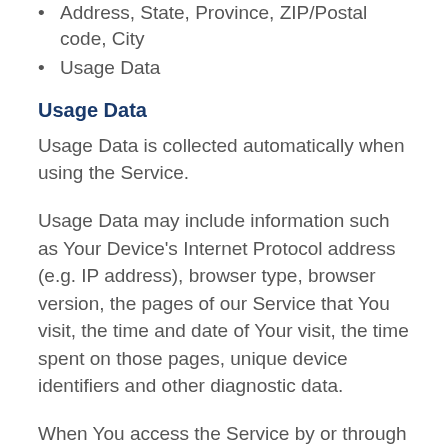Address, State, Province, ZIP/Postal code, City
Usage Data
Usage Data
Usage Data is collected automatically when using the Service.
Usage Data may include information such as Your Device’s Internet Protocol address (e.g. IP address), browser type, browser version, the pages of our Service that You visit, the time and date of Your visit, the time spent on those pages, unique device identifiers and other diagnostic data.
When You access the Service by or through a mobile device, We may collect certain